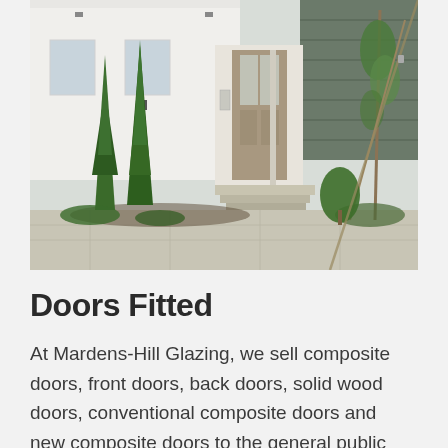[Figure (photo): Exterior photo of a modern Japanese house entrance with a contemporary grey composite door, cypress/conifer trees in the garden, white house facade, steps leading to the front door, and landscaped greenery.]
Doors Fitted
At Mardens-Hill Glazing, we sell composite doors, front doors, back doors, solid wood doors, conventional composite doors and new composite doors to the general public and to